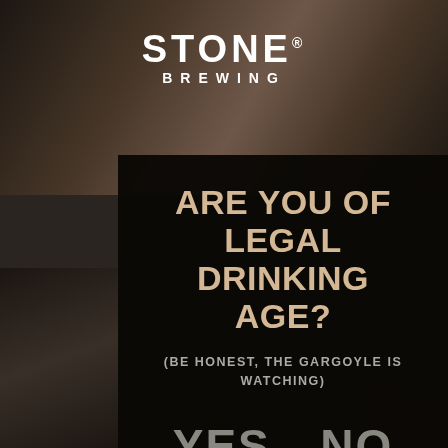[Figure (photo): Stone Brewing age verification page with dark blurred background photo of people drinking, with a dark overlay modal dialog in the center]
STONE® BREWING
ARE YOU OF LEGAL DRINKING AGE?
(BE HONEST, THE GARGOYLE IS WATCHING)
YES   NO
REMEMBER ME
THIS SITE USES COOKIES. INFORMATION ON OUR COOKIES AND INSTRUCTIONS TO DISABLE THEM